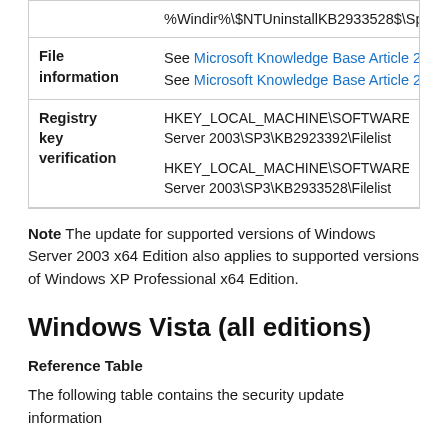| Property | Value |
| --- | --- |
|  | %Windir%\$NTUninstallKB2933528$\Spuninst folde |
| File information | See Microsoft Knowledge Base Article 2923392
See Microsoft Knowledge Base Article 2933528 |
| Registry key verification | HKEY_LOCAL_MACHINE\SOFTWARE\Microsoft\Upc Server 2003\SP3\KB2923392\Filelist

HKEY_LOCAL_MACHINE\SOFTWARE\Microsoft\Upc Server 2003\SP3\KB2933528\Filelist |
Note The update for supported versions of Windows Server 2003 x64 Edition also applies to supported versions of Windows XP Professional x64 Edition.
Windows Vista (all editions)
Reference Table
The following table contains the security update information